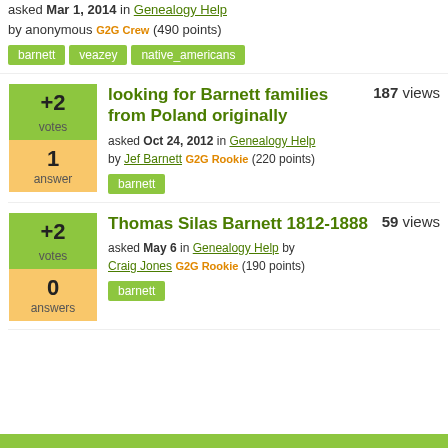asked Mar 1, 2014 in Genealogy Help by anonymous G2G Crew (490 points)
barnett | veazey | native_americans
looking for Barnett families from Poland originally — 187 views — asked Oct 24, 2012 in Genealogy Help by Jef Barnett G2G Rookie (220 points)
barnett
Thomas Silas Barnett 1812-1888 — 59 views — asked May 6 in Genealogy Help by Craig Jones G2G Rookie (190 points)
barnett